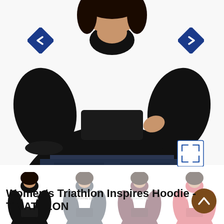[Figure (photo): Main product photo of a woman wearing a black hoodie with TRIATHLON text, shown from mid-torso. Navigation arrows on left and right, expand icon bottom-right.]
[Figure (photo): Four thumbnail images of the same hoodie in different colors: black, dark navy/grey, dark burgundy, and red/coral. Each shows the TRIATHLON text on the front.]
Women's Triathlon Inspires Hoodie - TRIATHLON